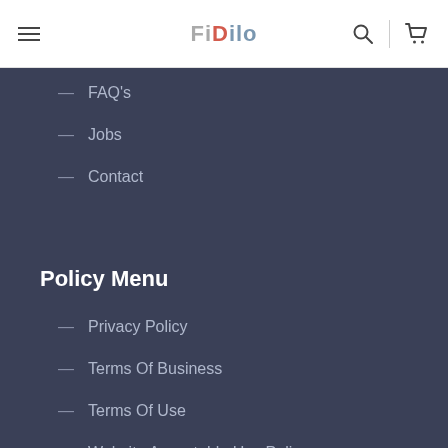[Figure (logo): Fidilo website logo and navigation header with hamburger menu, search icon, and cart icon]
— FAQ's
— Jobs
— Contact
Policy Menu
— Privacy Policy
— Terms Of Business
— Terms Of Use
— Website Acceptable Use Policy